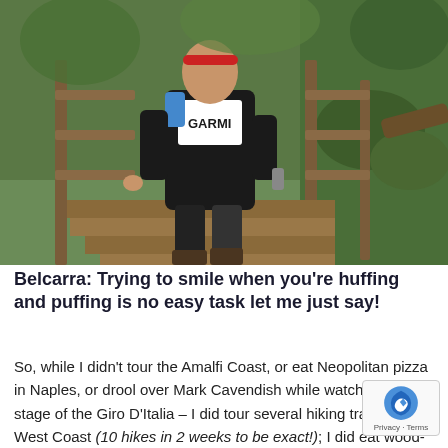[Figure (photo): A woman wearing a black Garmin cycling jersey and black pants climbs wooden stairs in a forested area with wooden railings and green mossy surroundings.]
Belcarra: Trying to smile when you're huffing and puffing is no easy task let me just say!
So, while I didn't tour the Amalfi Coast, or eat Neopolitan pizza in Naples, or drool over Mark Cavendish while watching a live stage of the Giro D'Italia – I did tour several hiking trails of the West Coast (10 hikes in 2 weeks to be exact!); I did eat wood-fired funghi piz... Nicli Pizzeria in Gastown, of which the owner was bo...